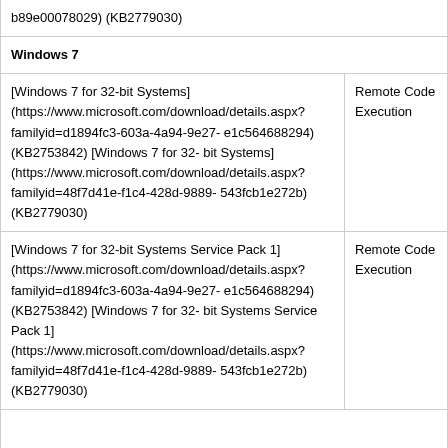b89e00078029) (KB2779030)
Windows 7
| Download | Impact |
| --- | --- |
| [Windows 7 for 32-bit Systems] (https://www.microsoft.com/download/details.aspx?familyid=d1894fc3-603a-4a94-9e27-e1c564688294) (KB2753842) [Windows 7 for 32-bit Systems] (https://www.microsoft.com/download/details.aspx?familyid=48f7d41e-f1c4-428d-9889-543fcb1e272b) (KB2779030) | Remote Code Execution |
| [Windows 7 for 32-bit Systems Service Pack 1] (https://www.microsoft.com/download/details.aspx?familyid=d1894fc3-603a-4a94-9e27-e1c564688294) (KB2753842) [Windows 7 for 32-bit Systems Service Pack 1] (https://www.microsoft.com/download/details.aspx?familyid=48f7d41e-f1c4-428d-9889-543fcb1e272b) (KB2779030) | Remote Code Execution |